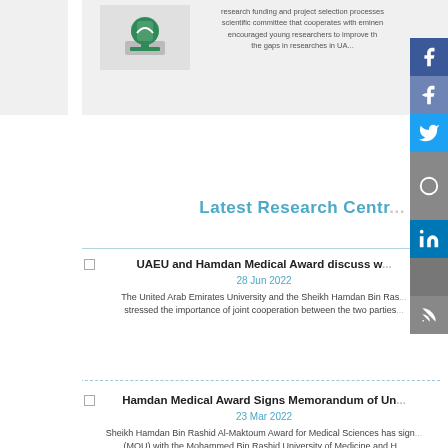research funding and project selection processes scientific committee that cooperates with eminent encouraged young researchers to improve the gaps in researches in UA...
Latest Research Centr...
UAEU and Hamdan Medical Award discuss w...
28 Jun 2022
The United Arab Emirates University and the Sheikh Hamdan Bin Ras... stressed the importance of joint cooperation between the two parties...
Hamdan Medical Award Signs Memorandum of Un...
23 Mar 2022
Sheikh Hamdan Bin Rashid Al-Maktoum Award for Medical Sciences has sign... (MOU) with the Mohammed Bin Rashid University of Medicine and H...
Thumbay Research Institute for Precision Medicine... University inaugurates Zebrafish Facility for Cancer R...